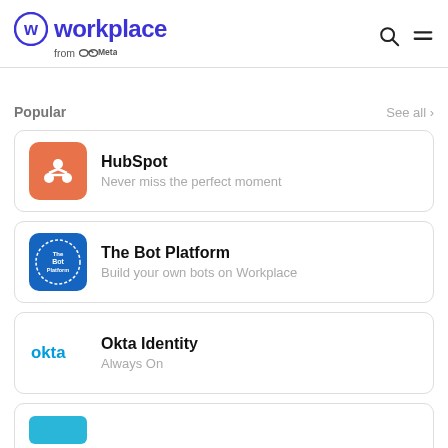workplace from Meta
Popular
HubSpot — Never miss the perfect moment
The Bot Platform — Build your own bots on Workplace
Okta Identity — Always On